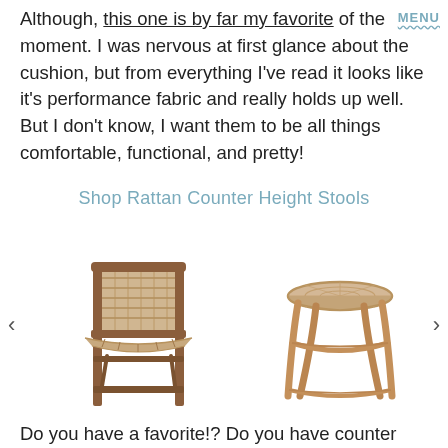Although, this one is by far my favorite of the moment. I was nervous at first glance about the cushion, but from everything I've read it looks like it's performance fabric and really holds up well. But I don't know, I want them to be all things comfortable, functional, and pretty!
MENU
Shop Rattan Counter Height Stools
[Figure (photo): A rattan counter height stool with a woven back and seat, wooden legs]
[Figure (photo): A round rattan counter height stool without a back, with a woven seat and curved wooden legs]
Do you have a favorite!? Do you have counter